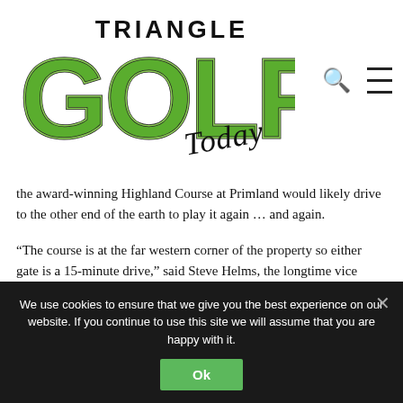[Figure (logo): Triangle Golf Today logo — large green bold 'GOLF' letters with black outline, 'TRIANGLE' in black above, 'Today' in black cursive script below-right]
the award-winning Highland Course at Primland would likely drive to the other end of the earth to play it again … and again.
“The course is at the far western corner of the property so either gate is a 15-minute drive,” said Steve Helms, the longtime vice president of the Virginia resort. “We wondered if that would be a challenge for people. But now it…
We use cookies to ensure that we give you the best experience on our website. If you continue to use this site we will assume that you are happy with it.